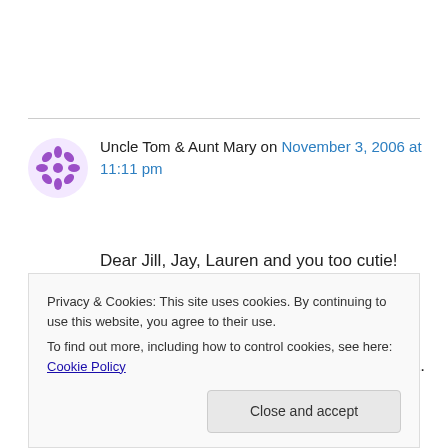Uncle Tom & Aunt Mary on November 3, 2006 at 11:11 pm
Dear Jill, Jay, Lauren and you too cutie!

Oh how I love your notes. You have such serious decisions to make. You are in our prayers. Whatever you choose will be right. WE love the roll over video. If you would need help with
Privacy & Cookies: This site uses cookies. By continuing to use this website, you agree to their use.
To find out more, including how to control cookies, see here: Cookie Policy